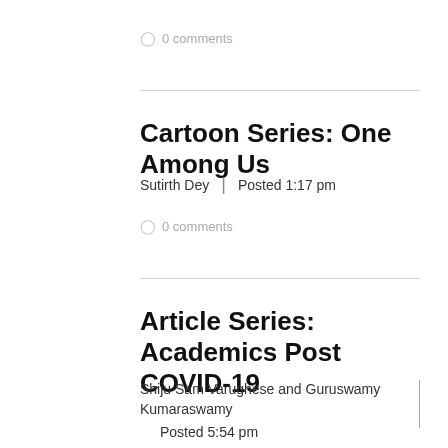0 comments
Cartoon Series: One Among Us
Sutirth Dey | Posted 1:17 pm
0 comments
Article Series: Academics Post COVID-19
Shiju Sam Varughese and Guruswamy Kumaraswamy
Posted 5:54 pm